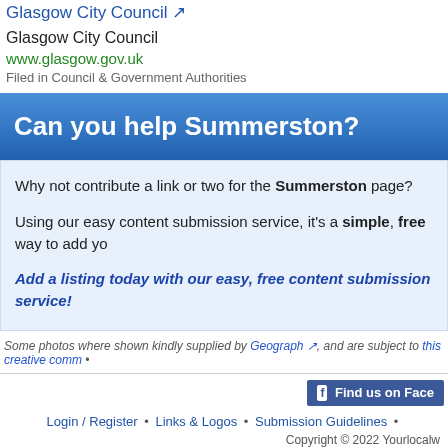Glasgow City Council ↗
Glasgow City Council
www.glasgow.gov.uk
Filed in Council & Government Authorities
Can you help Summerston?
Why not contribute a link or two for the Summerston page?
Using our easy content submission service, it's a simple, free way to add yo
Add a listing today with our easy, free content submission service!
Some photos where shown kindly supplied by Geograph ↗, and are subject to this creative comm •
Login / Register • Links & Logos • Submission Guidelines •
Copyright © 2022 Yourlocalw